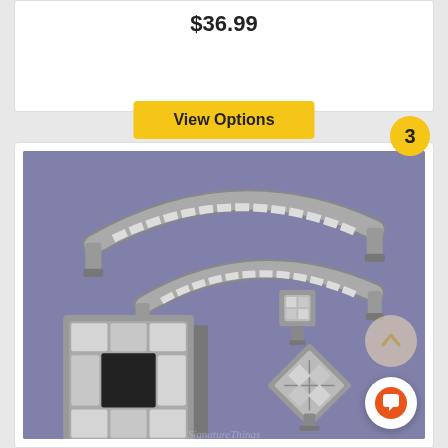$36.99
View Options
3
[Figure (photo): Product photo showing crystal cabinet hardware collection on purple background: two arched bar pulls with clear crystal inserts in different sizes, a small square knob, a large square decorative backplate with crystal grid pattern, and a small diamond-shaped crystal knob. Watermark reads 'SignatureThings'.]